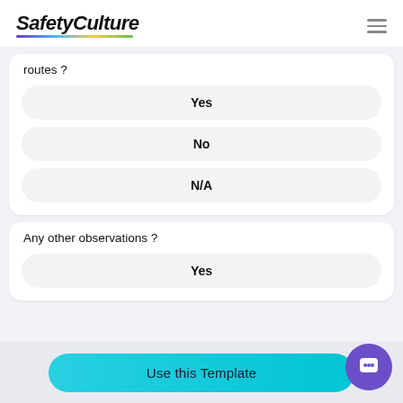SafetyCulture
routes ?
Yes
No
N/A
Any other observations ?
Yes
Use this Template